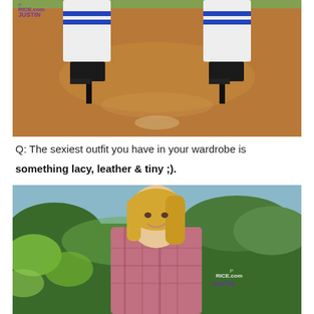[Figure (photo): Close-up photo of a person's legs wearing white knee-high socks with blue stripes and black high-heel platform shoes, standing on a dirt baseball/softball field with home plate visible. A watermark reads 'JustinPrice.com' in the top-left corner.]
Q: The sexiest outfit you have in your wardrobe is
something lacy, leather & tiny ;).
[Figure (photo): Photo of a smiling blonde woman in a pink plaid shirt, leaning against a tree or plant in a garden/outdoor setting with green foliage and trees in the background. A watermark reads 'JustinPrice.com' in the lower-right area.]